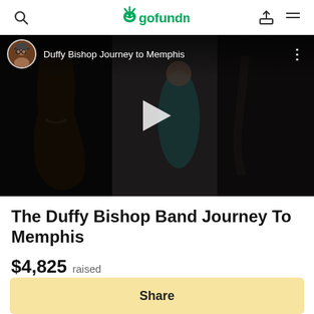gofundme
[Figure (screenshot): Video thumbnail showing musicians playing instruments (upright bass, guitar) with a woman in teal dress. Overlay shows YouTube-style player with title 'Duffy Bishop Journey to Memphis', avatar, play button, and three-dot menu.]
The Duffy Bishop Band Journey To Memphis
$4,825 raised
Share